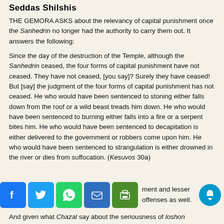Seddas Shilshis
THE GEMORA ASKS about the relevancy of capital punishment once the Sanhedrin no longer had the authority to carry them out. It answers the following:
Since the day of the destruction of the Temple, although the Sanhedrin ceased, the four forms of capital punishment have not ceased. They have not ceased, [you say]? Surely they have ceased! But [say] the judgment of the four forms of capital punishment has not ceased. He who would have been sentenced to stoning either falls down from the roof or a wild beast treads him down. He who would have been sentenced to burning either falls into a fire or a serpent bites him. He who would have been sentenced to decapitation is either delivered to the government or robbers come upon him. He who would have been sentenced to strangulation is either drowned in the river or dies from suffocation. (Kesuvos 30a)
it applies to capital punishment and lesser offenses as well. And given what Chazal say about the seriousness of loshon